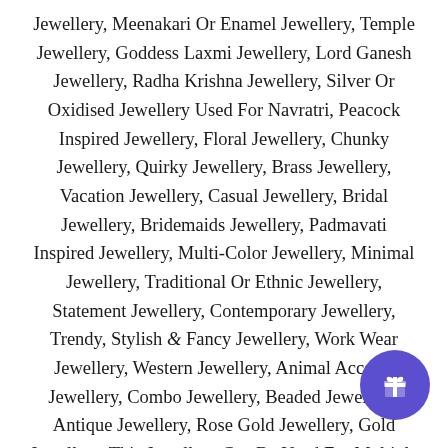Jewellery, Meenakari Or Enamel Jewellery, Temple Jewellery, Goddess Laxmi Jewellery, Lord Ganesh Jewellery, Radha Krishna Jewellery, Silver Or Oxidised Jewellery Used For Navratri, Peacock Inspired Jewellery, Floral Jewellery, Chunky Jewellery, Quirky Jewellery, Brass Jewellery, Vacation Jewellery, Casual Jewellery, Bridal Jewellery, Bridemaids Jewellery, Padmavati Inspired Jewellery, Multi-Color Jewellery, Minimal Jewellery, Traditional Or Ethnic Jewellery, Statement Jewellery, Contemporary Jewellery, Trendy, Stylish & Fancy Jewellery, Work Wear Jewellery, Western Jewellery, Animal Accents Jewellery, Combo Jewellery, Beaded Jewellery, Antique Jewellery, Rose Gold Jewellery, Gold Jewellery. This Jewellery Can Be Used For Multiple Events, Occasions & Ceremonies Like Festivals, Mehandi, Haldi, Sangeet, Engagement, Wedding, Destination Wedding, Reception, Baby Shower, Party Or Fashion Shows. It Can Also Be Best...